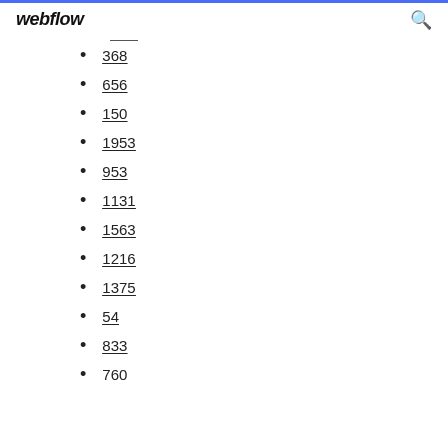webflow
368
656
150
1953
953
1131
1563
1216
1375
54
833
760